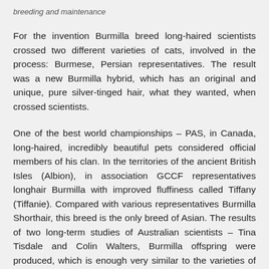breeding and maintenance
For the invention Burmilla breed long-haired scientists crossed two different varieties of cats, involved in the process: Burmese, Persian representatives. The result was a new Burmilla hybrid, which has an original and unique, pure silver-tinged hair, what they wanted, when crossed scientists.
One of the best world championships – PAS, in Canada, long-haired, incredibly beautiful pets considered official members of his clan. In the territories of the ancient British Isles (Albion), in association GCCF representatives longhair Burmilla with improved fluffiness called Tiffany (Tiffanie). Compared with various representatives Burmilla Shorthair, this breed is the only breed of Asian. The results of two long-term studies of Australian scientists – Tina Tisdale and Colin Walters, Burmilla offspring were produced, which is enough very similar to the varieties of Persian cats. Ultimately, Australia is a country of primitive appearance of the newly-made breed, which is officially called the Australian Tiffany. On the eve of the 20 th century